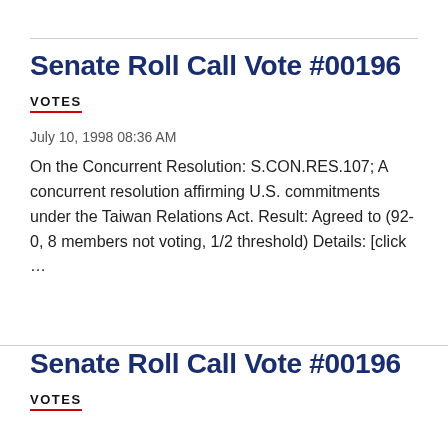Senate Roll Call Vote #00196
VOTES
July 10, 1998 08:36 AM
On the Concurrent Resolution: S.CON.RES.107; A concurrent resolution affirming U.S. commitments under the Taiwan Relations Act. Result: Agreed to (92-0, 8 members not voting, 1/2 threshold) Details: [click …
Senate Roll Call Vote #00196
VOTES